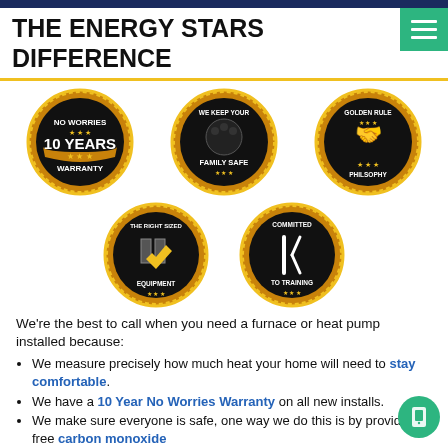THE ENERGY STARS DIFFERENCE
[Figure (infographic): Five gold and black circular badge/seal icons: 1) No Worries 10 Years Warranty, 2) We Keep Your Family Safe, 3) Golden Rule Philsophy, 4) The Right Sized Equipment, 5) Committed to Training]
We're the best to call when you need a furnace or heat pump installed because:
We measure precisely how much heat your home will need to stay comfortable.
We have a 10 Year No Worries Warranty on all new installs.
We make sure everyone is safe, one way we do this is by providing a free carbon monoxide